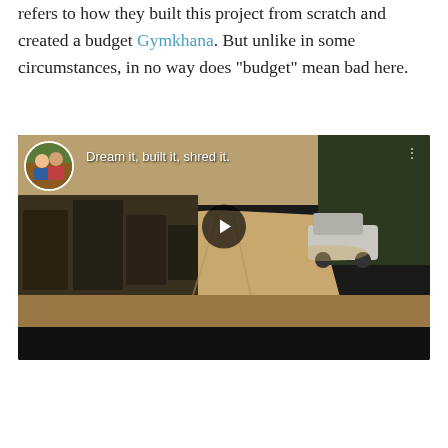refers to how they built this project from scratch and created a budget Gymkhana. But unlike in some circumstances, in no way does "budget" mean bad here.
[Figure (screenshot): Embedded YouTube video player showing a dirt track construction/rally scene with heavy machinery on the left and a truck mid-air on the right. Video title overlay reads 'Dream it, built it, shred it.' with a circular avatar thumbnail in the top-left corner and a play button in the center.]